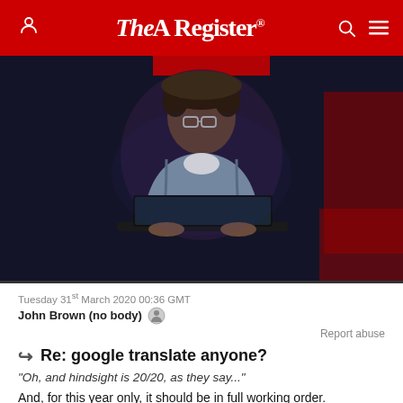The Register
[Figure (photo): A young man with glasses and curly hair wearing a denim jacket, working on a laptop in a dark room with red lighting accents in the background.]
Tuesday 31st March 2020 00:36 GMT
John Brown (no body)
Report abuse
Re: google translate anyone?
"Oh, and hindsight is 20/20, as they say..."
And, for this year only, it should be in full working order.